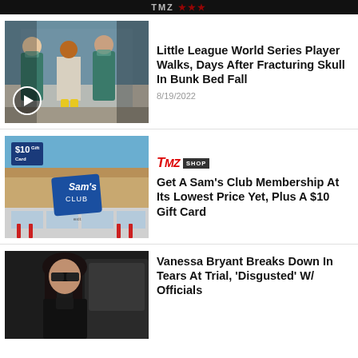TMZ
[Figure (photo): Hospital photo: a young boy patient in a gown walking in a hallway assisted by two nurses in teal scrubs. A play button icon is overlaid.]
Little League World Series Player Walks, Days After Fracturing Skull In Bunk Bed Fall
8/19/2022
[Figure (photo): Exterior photo of a Sam's Club store with a blue sky background. A $10 Gift Card badge is overlaid in the top-left corner.]
TMZ SHOP
Get A Sam's Club Membership At Its Lowest Price Yet, Plus A $10 Gift Card
[Figure (photo): Photo of Vanessa Bryant wearing sunglasses and dark clothing, standing near a black vehicle.]
Vanessa Bryant Breaks Down In Tears At Trial, 'Disgusted' W/ Officials